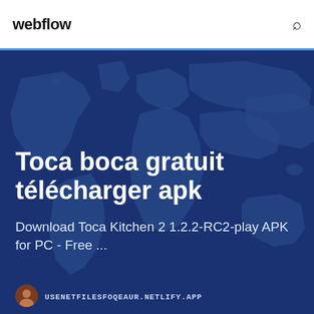webflow
[Figure (illustration): Hero banner with world map background in dark navy/blue tones with lighter blue continent shapes]
Toca boca gratuit télécharger apk
Download Toca Kitchen 2 1.2.2-RC2-play APK for PC - Free ...
USENETFILESFOQEAUR.NETLIFY.APP